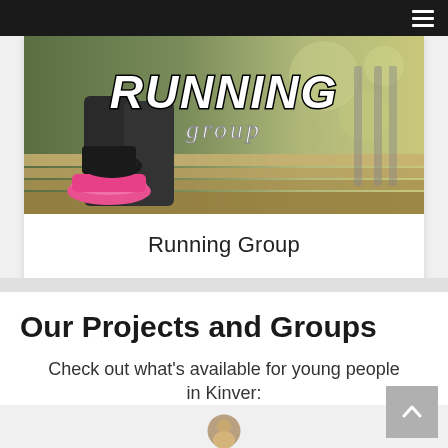Navigation bar with hamburger menu
[Figure (photo): Running Group hero image showing a person's legs and pink running shoes resting on a surface, with text overlay reading RUNNING group in bold white/black lettering]
Running Group
Our Projects and Groups
Check out what's available for young people in Kinver:
[Figure (photo): Partial circular avatar image at bottom of page]